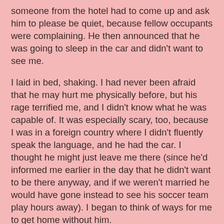someone from the hotel had to come up and ask him to please be quiet, because fellow occupants were complaining. He then announced that he was going to sleep in the car and didn't want to see me.
I laid in bed, shaking. I had never been afraid that he may hurt me physically before, but his rage terrified me, and I didn't know what he was capable of. It was especially scary, too, because I was in a foreign country where I didn't fluently speak the language, and he had the car. I thought he might just leave me there (since he'd informed me earlier in the day that he didn't want to be there anyway, and if we weren't married he would have gone instead to see his soccer team play hours away). I began to think of ways for me to get home without him.
He came back into the room a bit later. Of course he wasn't actually going to sleep in the car. I stayed as far away from him in bed and he eventually tried to put his arm around me. I didn't sleep at all that night.
When I look back at all of the beautiful pictures that were taken during that trip, all I can think of is how sad and scared